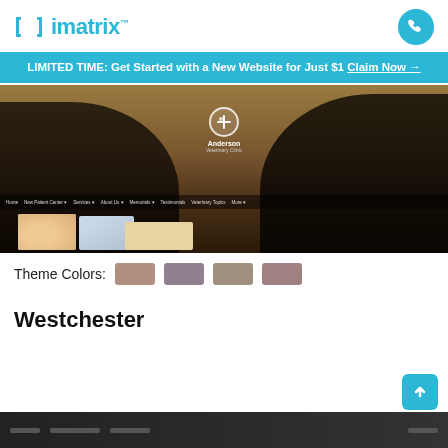imatrix™
LIMITED TIME: Get Started with a New Website for Just $1 Claim Now →
[Figure (screenshot): Screenshot of Anderson Veterinary Clinic website with dark silhouette background, navigation bar, clinic logo/badge, and preview cards at the bottom]
Theme Colors:
Westchester
[Figure (screenshot): Partial screenshot of the Westchester website theme, bottom portion visible]